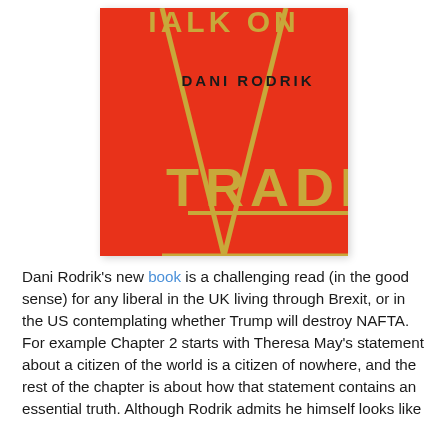[Figure (illustration): Book cover of 'Straight Talk on Trade' by Dani Rodrik. Red background with large gold geometric lines forming an A-shape or chevron. Author name 'DANI RODRIK' in black uppercase letters. Book title 'TRADE' in large gold uppercase letters at the bottom, partially cut off at top showing 'IALK ON'.]
Dani Rodrik's new book is a challenging read (in the good sense) for any liberal in the UK living through Brexit, or in the US contemplating whether Trump will destroy NAFTA. For example Chapter 2 starts with Theresa May's statement about a citizen of the world is a citizen of nowhere, and the rest of the chapter is about how that statement contains an essential truth. Although Rodrik admits he himself looks like